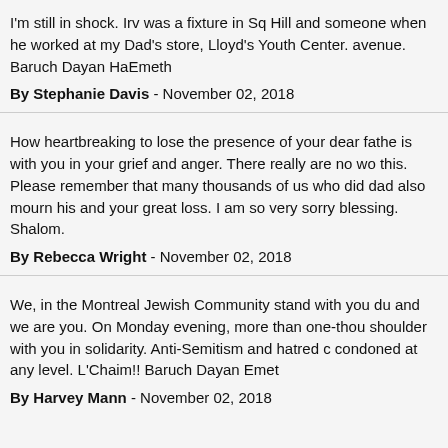I'm still in shock. Irv was a fixture in Sq Hill and someone when he worked at my Dad's store, Lloyd's Youth Center. avenue. Baruch Dayan HaEmeth
By Stephanie Davis - November 02, 2018
How heartbreaking to lose the presence of your dear fathe is with you in your grief and anger. There really are no wo this. Please remember that many thousands of us who did dad also mourn his and your great loss. I am so very sorry blessing. Shalom.
By Rebecca Wright - November 02, 2018
We, in the Montreal Jewish Community stand with you du and we are you. On Monday evening, more than one-thou shoulder with you in solidarity. Anti-Semitism and hatred c condoned at any level. L'Chaim!! Baruch Dayan Emet
By Harvey Mann - November 02, 2018